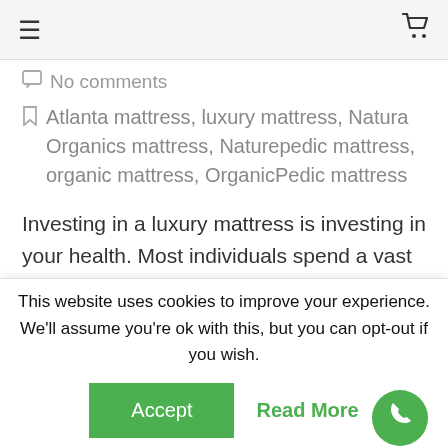≡  [cart icon]
💬 No comments
🔖 Atlanta mattress, luxury mattress, Natura Organics mattress, Naturepedic mattress, organic mattress, OrganicPedic mattress
Investing in a luxury mattress is investing in your health. Most individuals spend a vast majority of their life in their beds, so it only makes sense to invest in a luxury mattress that will help you get the most out of your life and feel your best. At our
This website uses cookies to improve your experience. We'll assume you're ok with this, but you can opt-out if you wish.
Accept   Read More